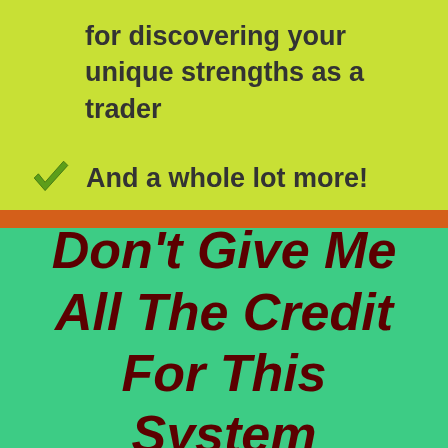for discovering your unique strengths as a trader
And a whole lot more!
Don't Give Me All The Credit For This System